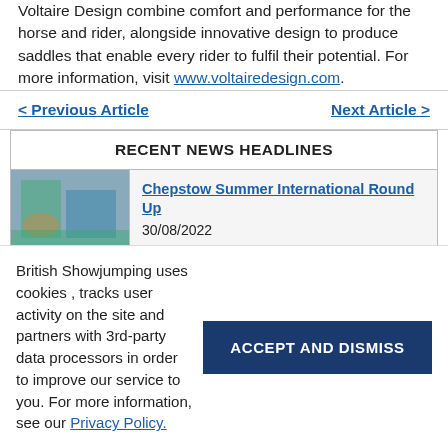Voltaire Design combine comfort and performance for the horse and rider, alongside innovative design to produce saddles that enable every rider to fulfil their potential. For more information, visit www.voltairedesign.com.
< Previous Article    Next Article >
RECENT NEWS HEADLINES
Chepstow Summer International Round Up
30/08/2022
Junior round up from Scope Festival
27/08/2022
Scope Festival Senior Championships at South View
British Showjumping uses cookies , tracks user activity on the site and partners with 3rd-party data processors in order to improve our service to you. For more information, see our Privacy Policy.